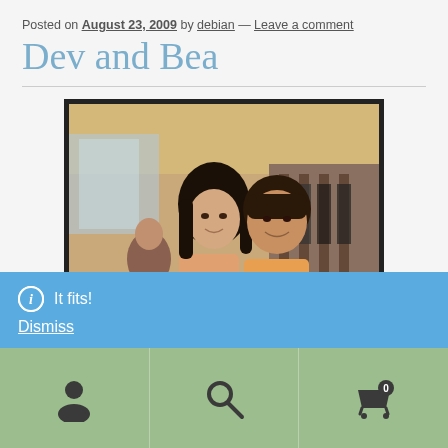Posted on August 23, 2009 by debian — Leave a comment
Dev and Bea
[Figure (photo): Two women smiling together inside what appears to be a shopping mall. The woman on the left has long dark hair; the woman on the right has a rounder face and is also smiling. Store racks and mall interior visible in background.]
It fits!
Dismiss